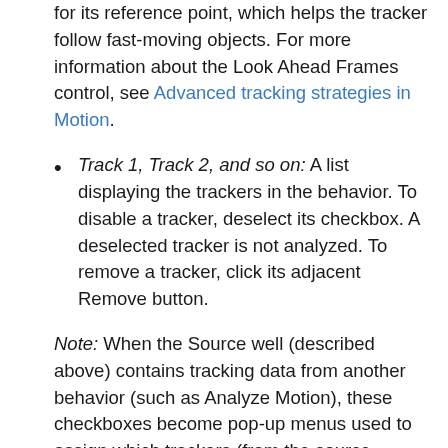for its reference point, which helps the tracker follow fast-moving objects. For more information about the Look Ahead Frames control, see Advanced tracking strategies in Motion.
Track 1, Track 2, and so on: A list displaying the trackers in the behavior. To disable a tracker, deselect its checkbox. A deselected tracker is not analyzed. To remove a tracker, click its adjacent Remove button.
Note: When the Source well (described above) contains tracking data from another behavior (such as Analyze Motion), these checkboxes become pop-up menus used to assign which trackers (from the source tracking data) will provide anchor (position) data to the destination object, and which will provide rotation-scale data. And because trackers are no longer